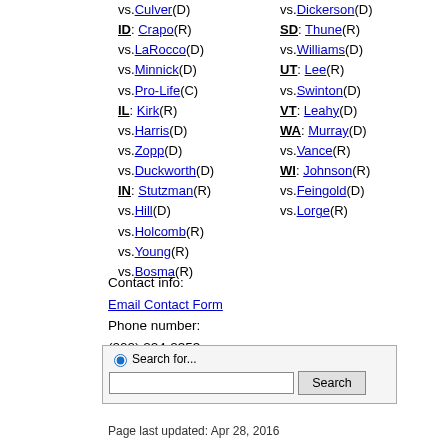vs.Culver(D)
ID: Crapo(R)
vs.LaRocco(D)
vs.Minnick(D)
vs.Pro-Life(C)
IL: Kirk(R)
vs.Harris(D)
vs.Zopp(D)
vs.Duckworth(D)
IN: Stutzman(R)
vs.Hill(D)
vs.Holcomb(R)
vs.Young(R)
vs.Bosma(R)
vs.Dickerson(D)
SD: Thune(R)
vs.Williams(D)
UT: Lee(R)
vs.Swinton(D)
VT: Leahy(D)
WA: Murray(D)
vs.Vance(R)
WI: Johnson(R)
vs.Feingold(D)
vs.Lorge(R)
Contact info:
Email Contact Form
Phone number:
(202) 224-2353
Page last updated: Apr 28, 2016